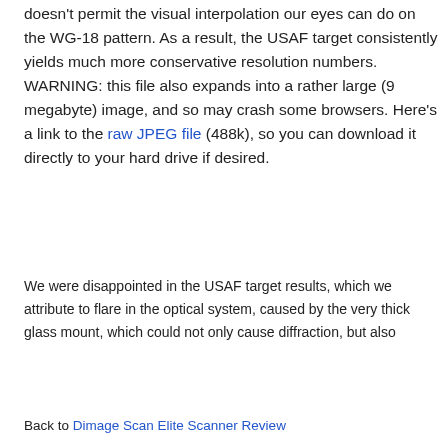doesn't permit the visual interpolation our eyes can do on the WG-18 pattern. As a result, the USAF target consistently yields much more conservative resolution numbers. WARNING: this file also expands into a rather large (9 megabyte) image, and so may crash some browsers. Here's a link to the raw JPEG file (488k), so you can download it directly to your hard drive if desired.
We were disappointed in the USAF target results, which we attribute to flare in the optical system, caused by the very thick glass mount, which could not only cause diffraction, but also
Back to Dimage Scan Elite Scanner Review